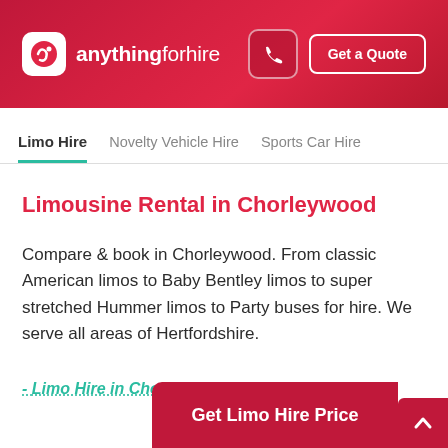anything for hire - Get a Quote
Limo Hire | Novelty Vehicle Hire | Sports Car Hire
Limousine Rental in Chorleywood
Compare & book in Chorleywood. From classic American limos to Baby Bentley limos to super stretched Hummer limos to Party buses for hire. We serve all areas of Hertfordshire.
- Limo Hire in Chorleywood